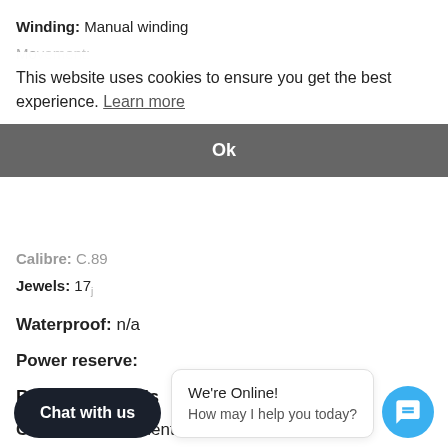Winding: Manual winding
Movement: [obscured by cookie banner]
This website uses cookies to ensure you get the best experience. Learn more
Ok
Calibre: C.89
Jewels: 17
Waterproof: n/a
Power reserve:
Purchase details
Condition: Excellent - 9.5/10
Model Number: steel dress watch
Dimensions:
Chat with us
We're Online! How may I help you today?